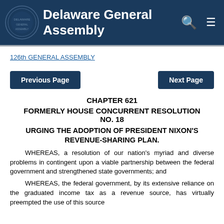Delaware General Assembly
126th GENERAL ASSEMBLY
Previous Page   Next Page
CHAPTER 621
FORMERLY HOUSE CONCURRENT RESOLUTION NO. 18
URGING THE ADOPTION OF PRESIDENT NIXON'S REVENUE-SHARING PLAN.
WHEREAS, a resolution of our nation's myriad and diverse problems in contingent upon a viable partnership between the federal government and strengthened state governments; and
WHEREAS, the federal government, by its extensive reliance on the graduated income tax as a revenue source, has virtually preempted the use of this source